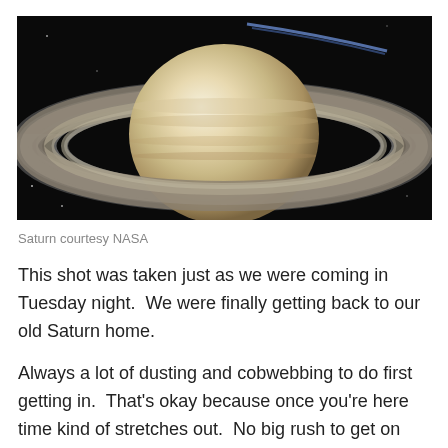[Figure (photo): Photograph of Saturn with its rings visible against a black space background, taken from space. The planet shows a cream/beige coloration with the distinctive ring system extending diagonally across the image.]
Saturn courtesy NASA
This shot was taken just as we were coming in Tuesday night.  We were finally getting back to our old Saturn home.
Always a lot of dusting and cobwebbing to do first getting in.  That's okay because once you're here time kind of stretches out.  No big rush to get on with your projects if